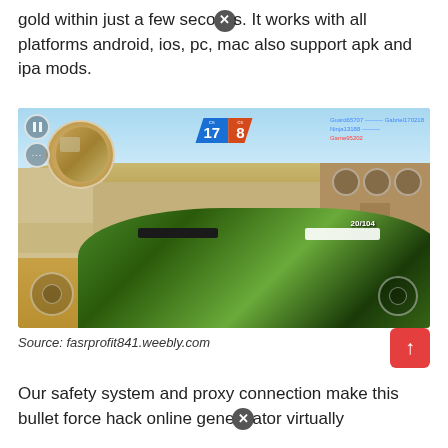gold within just a few seconds. It works with all platforms android, ios, pc, mac also support apk and ipa mods.
[Figure (screenshot): Mobile game screenshot of a first-person shooter (Bullet Force) showing a desert environment with buildings, a player holding a green camouflage weapon, HUD elements including team scores (blue team 17, red team 8), minimap, and touch controls.]
Source: fasrprofit841.weebly.com
Our safety system and proxy connection make this bullet force hack online generator virtually